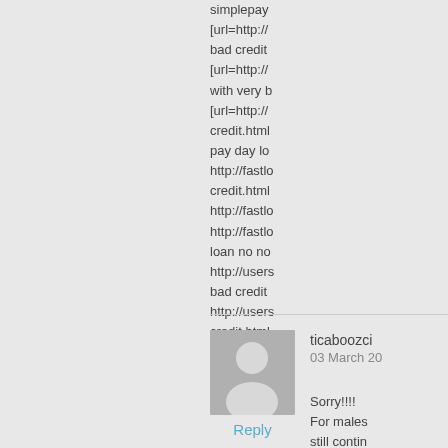simplepay [url=http:// bad credit [url=http:// with very b [url=http:// credit.html pay day lo http://fastlo credit.html http://fastlo http://fastlo loan no no http://users bad credit http://users credit.html
ticaboozci
03 March 20
Reply
Sorry!!!! For males still contin